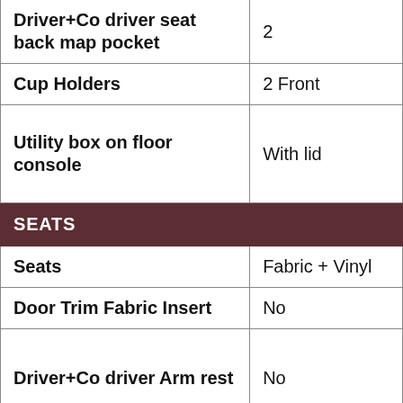| Feature | Value |
| --- | --- |
| Driver+Co driver seat back map pocket | 2 |
| Cup Holders | 2 Front |
| Utility box on floor console | With lid |
| SEATS |  |
| Seats | Fabric + Vinyl |
| Door Trim Fabric Insert | No |
| Driver+Co driver Arm rest | No |
| Adjustable Headrest | Yes |